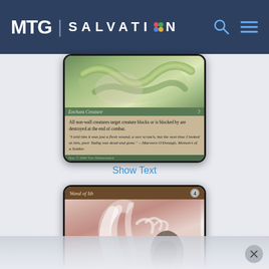MTG | SALVATION
[Figure (photo): Magic: The Gathering card - Enchant Creature card showing a snake illustration. Card text: 'All non-wall creatures target creature blocks or is blocked by are destroyed at the end of combat.' Flavor text: 'I told him it was just a flesh wound, a wee scratch, but the next time I looked at him, poor Tadhg was dead and gone.' —Maeveen O'Donagh, Memoirs of a Soldier. Illus. © 1994 Tom Wänerstrand]
Show Text
[Figure (photo): Magic: The Gathering card - Wand of Ith, cost 4. Shows a skeletal hand or ghostly figure illustration in red/white tones, partially cut off at bottom.]